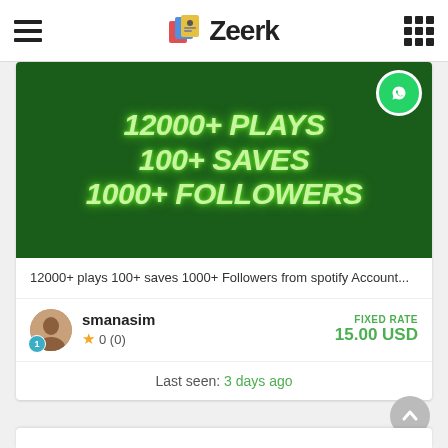Zeerk
[Figure (infographic): Dark green banner with glowing light green italic bold text: '12000+ PLAYS', '100+ SAVES', '1000+ FOLLOWERS'. WhatsApp-style green circular icon in top-right corner.]
12000+ plays 100+ saves 1000+ Followers from spotify Account...
smanasim
★ 0 (0)
FIXED RATE
15.00 USD
Last seen: 3 days ago